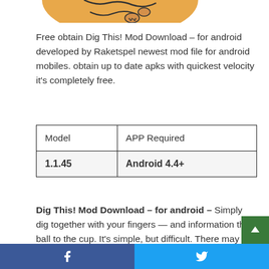[Figure (illustration): Partial game illustration showing orange/sandy colored graphic with black outlines at top of page]
Free obtain Dig This! Mod Download – for android developed by Raketspel newest mod file for android mobiles. obtain up to date apks with quickest velocity it's completely free.
| Model | APP Required |
| --- | --- |
| 1.1.45 | Android 4.4+ |
Dig This! Mod Download – for android – Simply dig together with your fingers — and information the ball to the cup. It's simple, but difficult. There may be typically a trick to resolve the degrees, typically you want benefit from the object to do it or simply it is explained but…